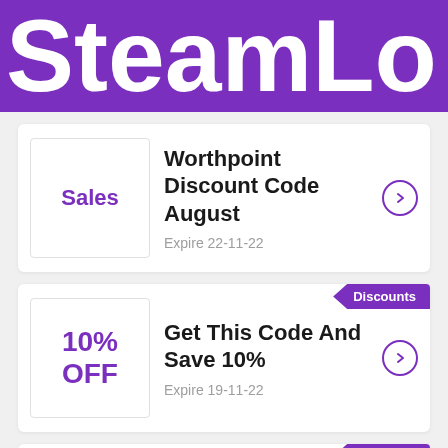SteamLo
Worthpoint Discount Code August
Expire 22-11-22
Sales
Discounts
Get This Code And Save 10%
10% OFF
Expire 19-11-22
Discounts